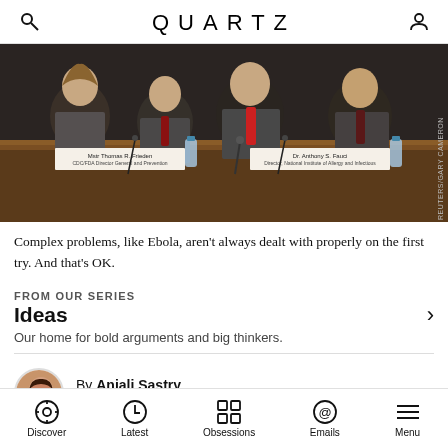QUARTZ
[Figure (photo): Congressional hearing scene with multiple officials seated at a witness table including name placards for 'Mstr Thomas R. Frieden' and 'Dr. Anthony S. Fauci', men and women in formal attire, water bottles on the table, dark wood paneling in background.]
REUTERS/GARY CAMERON
Complex problems, like Ebola, aren't always dealt with properly on the first try. And that's OK.
FROM OUR SERIES
Ideas
Our home for bold arguments and big thinkers.
By Anjali Sastry
Senior lecturer, MIT Sloan School of Management
Published December 23, 2014 · Last updated July 21, 2022 · This article is more than 2 years old.
Discover · Latest · Obsessions · Emails · Menu